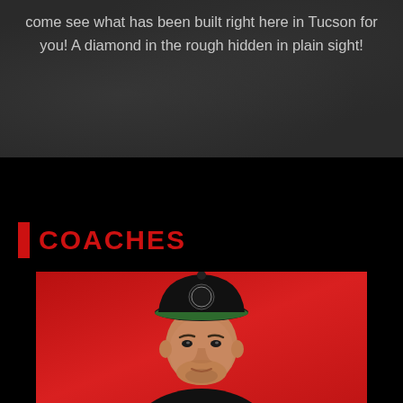come see what has been built right here in Tucson for you! A diamond in the rough hidden in plain sight!
COACHES
[Figure (photo): Portrait photo of a man wearing a black t-shirt and a black baseball cap with green brim and a circular logo, posed against a red background, looking slightly upward]